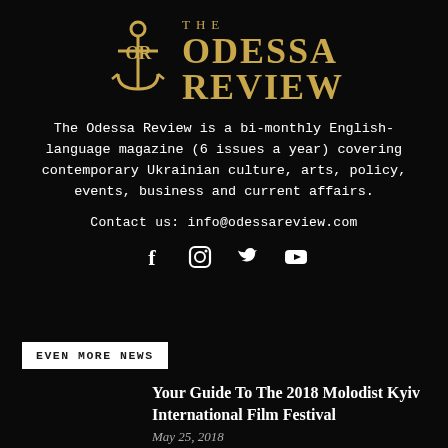[Figure (logo): The Odessa Review logo with anchor/OR monogram in gold and gold text]
The Odessa Review is a bi-monthly English-language magazine (6 issues a year) covering contemporary Ukrainian culture, arts, policy, events, business and current affairs.
Contact us: info@odessareview.com
[Figure (infographic): Social media icons: Facebook, Instagram, Twitter, YouTube]
EVEN MORE NEWS
Your Guide To The 2018 Molodist Kyiv International Film Festival
May 25, 2018